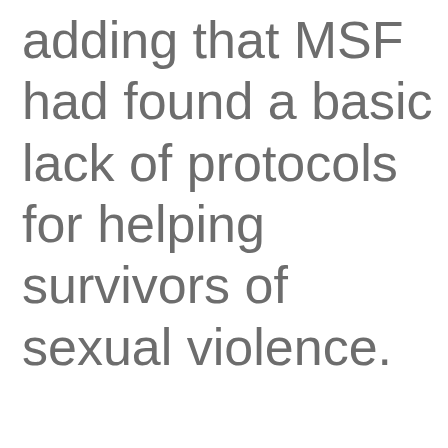adding that MSF had found a basic lack of protocols for helping survivors of sexual violence. Guatemala has a